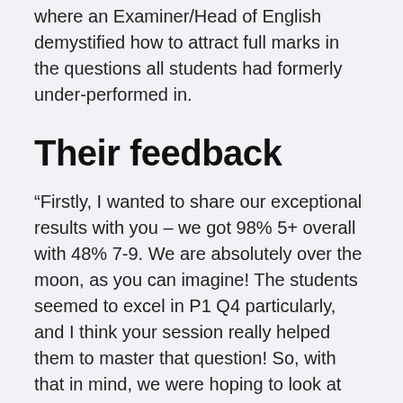where an Examiner/Head of English demystified how to attract full marks in the questions all students had formerly under-performed in.
Their feedback
“Firstly, I wanted to share our exceptional results with you – we got 98% 5+ overall with 48% 7-9. We are absolutely over the moon, as you can imagine! The students seemed to excel in P1 Q4 particularly, and I think your session really helped them to master that question! So, with that in mind, we were hoping to look at booking some sessions for next year.